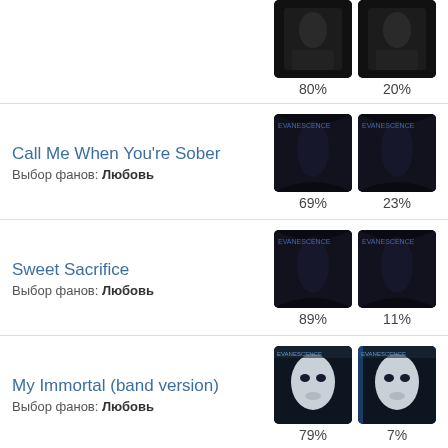80%  20%
Call Me When You're Sober
Выбор фанов: Любовь
69%  23%
Sweet Sacrifice
Выбор фанов: Любовь
89%  11%
My Immortal (band version)
Выбор фанов: Любовь
79%  7%
Whisper
Выбор фанов: Любовь
67%  22%